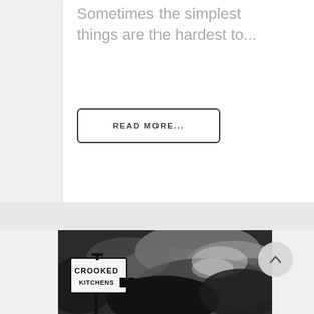Sometimes the simplest things are the hardest to...
READ MORE
[Figure (photo): Black and white dramatic stormy clouds with a Crooked Kitchens sign in the foreground. The sign has a bold, hand-drawn style font and an arrow pointing to the right, mounted on a pole.]